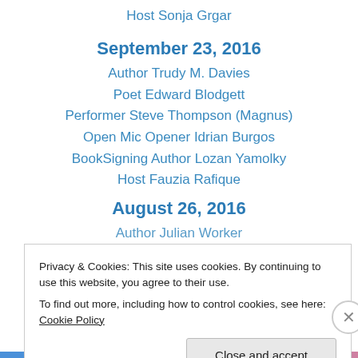Host Sonja Grgar
September 23, 2016
Author Trudy M. Davies
Poet Edward Blodgett
Performer Steve Thompson (Magnus)
Open Mic Opener Idrian Burgos
BookSigning Author Lozan Yamolky
Host Fauzia Rafique
August 26, 2016
Author Julian Worker
Privacy & Cookies: This site uses cookies. By continuing to use this website, you agree to their use.
To find out more, including how to control cookies, see here: Cookie Policy